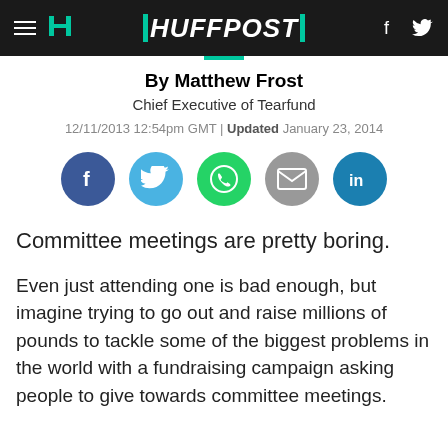HUFFPOST
By Matthew Frost
Chief Executive of Tearfund
12/11/2013 12:54pm GMT | Updated January 23, 2014
[Figure (infographic): Social sharing buttons: Facebook, Twitter, WhatsApp, Email, LinkedIn]
Committee meetings are pretty boring.
Even just attending one is bad enough, but imagine trying to go out and raise millions of pounds to tackle some of the biggest problems in the world with a fundraising campaign asking people to give towards committee meetings.